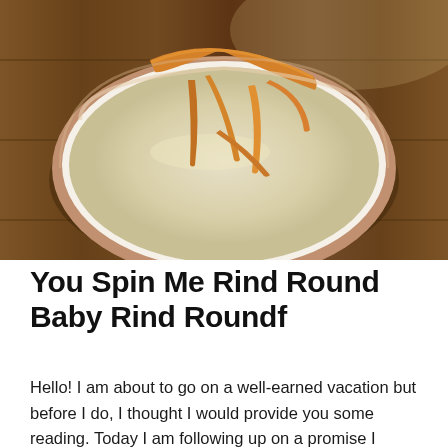[Figure (photo): Overhead view of a white bowl with a rose-gold rim containing a pale yellow liquid and several strips of candied or glazed citrus rind, placed on a wooden board surface.]
You Spin Me Rind Round Baby Rind Roundf
Hello! I am about to go on a well-earned vacation but before I do, I thought I would provide you some reading. Today I am following up on a promise I made a long time...